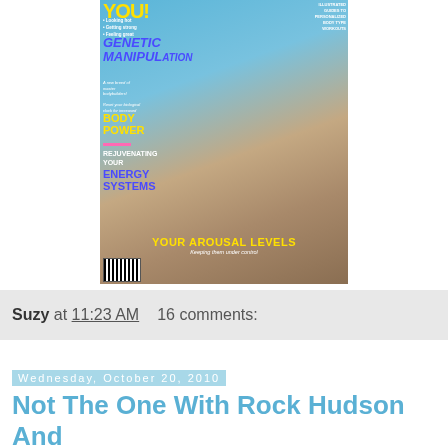[Figure (photo): Magazine cover showing two muscular bodybuilders, a man and a woman in a bikini. Text includes 'GENETIC MANIPULATION', 'BODY POWER', 'REJUVENATING YOUR ENERGY SYSTEMS', 'YOUR AROUSAL LEVELS - Keeping them under control']
Suzy at 11:23 AM    16 comments:
Wednesday, October 20, 2010
Not The One With Rock Hudson And Doris Day